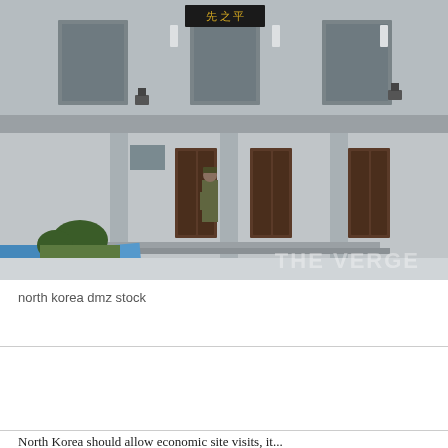[Figure (photo): Photo of a North Korean building at the DMZ (Demilitarized Zone). A soldier stands at attention in a doorway of a large concrete structure with multiple columns and dark wooden doors. The upper floor has large windows and a dark sign with Korean characters. Blue structures are visible at the lower left. A 'THE VERGE' watermark appears at the lower right.]
north korea dmz stock
North Korea should allow economic site visits, it...